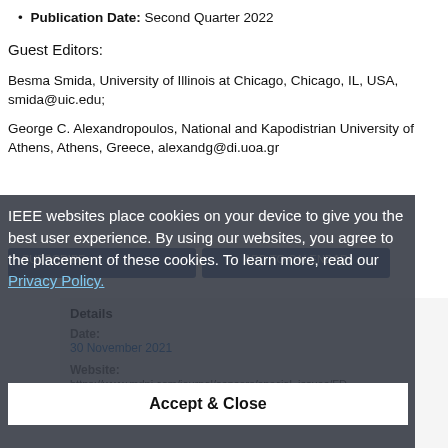Publication Date: Second Quarter 2022
Guest Editors:
Besma Smida, University of Illinois at Chicago, Chicago, IL, USA, smida@uic.edu;
George C. Alexandropoulos, National and Kapodistrian University of Athens, Athens, Greece, alexandg@di.uoa.gr
IEEE websites place cookies on your device to give you the best user experience. By using our websites, you agree to the placement of these cookies. To learn more, read our Privacy Policy.
Accept & Close
Details
Date: 30 November 2021
Website: https://www.mdpi.com/journal/sensors/special_issues/FD
Organizers